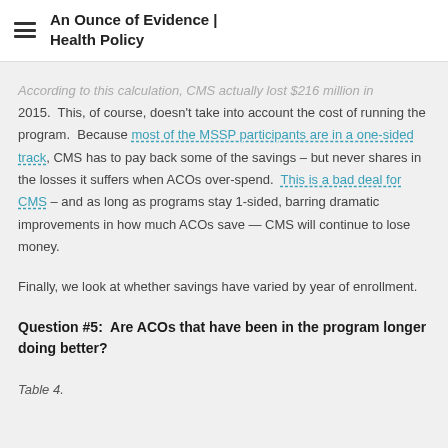An Ounce of Evidence | Health Policy
According to this calculation, CMS actually lost $216 million in 2015.  This, of course, doesn't take into account the cost of running the program.  Because most of the MSSP participants are in a one-sided track, CMS has to pay back some of the savings – but never shares in the losses it suffers when ACOs over-spend.  This is a bad deal for CMS – and as long as programs stay 1-sided, barring dramatic improvements in how much ACOs save — CMS will continue to lose money.
Finally, we look at whether savings have varied by year of enrollment.
Question #5:  Are ACOs that have been in the program longer doing better?
Table 4.